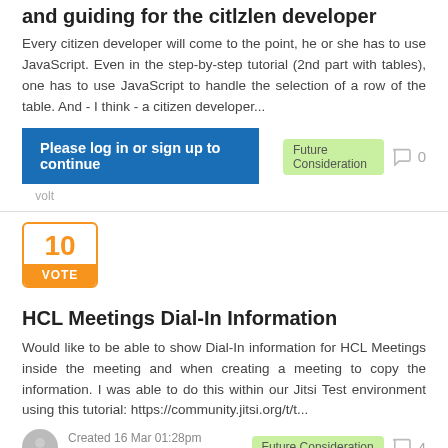and guiding for the citlzlen developer
Every citizen developer will come to the point, he or she has to use JavaScript. Even in the step-by-step tutorial (2nd part with tables), one has to use JavaScript to handle the selection of a row of the table. And - I think - a citizen developer...
Please log in or sign up to continue
Future Consideration   0
10 VOTE
HCL Meetings Dial-In Information
Would like to be able to show Dial-In information for HCL Meetings inside the meeting and when creating a meeting to copy the information. I was able to do this within our Jitsi Test environment using this tutorial: https://community.jitsi.org/t/t...
Created 16 Mar 01:28pm
Sametime
Future Consideration   4